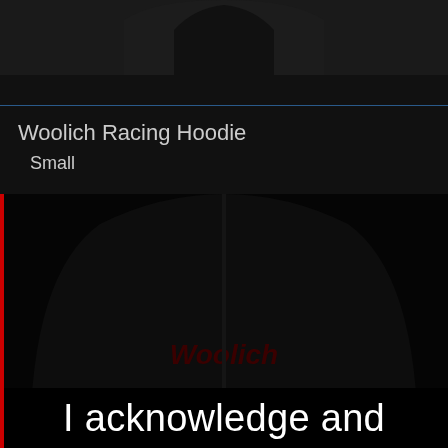[Figure (photo): Top portion of a black hoodie product shot on dark background]
Woolich Racing Hoodie
  Small
[Figure (photo): Photo of a smiling man wearing a black hoodie with red lining, on grey background]
[Figure (photo): Close-up of dark black Woolich Racing hoodie fabric with faint logo text visible]
I acknowledge and